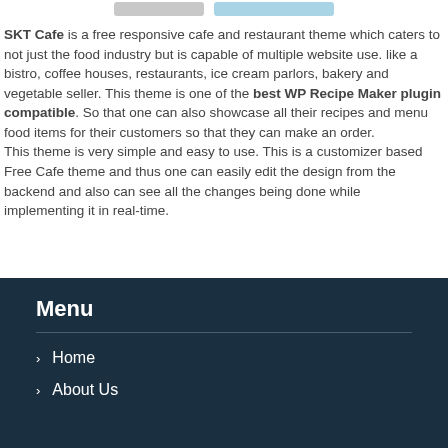[Figure (other): Two pill-shaped buttons at the top: a gray one and a light blue one]
SKT Cafe is a free responsive cafe and restaurant theme which caters to not just the food industry but is capable of multiple website use. like a bistro, coffee houses, restaurants, ice cream parlors, bakery and vegetable seller. This theme is one of the best WP Recipe Maker plugin compatible. So that one can also showcase all their recipes and menu food items for their customers so that they can make an order. This theme is very simple and easy to use. This is a customizer based Free Cafe theme and thus one can easily edit the design from the backend and also can see all the changes being done while implementing it in real-time.
Menu
Home
About Us